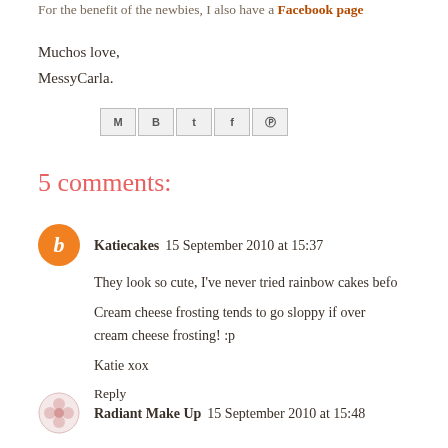For the benefit of the newbies, I also have a Facebook page
Muchos love,
MessyCarla.
[Figure (other): Social sharing icons: Gmail, Blogger, Twitter, Facebook, Pinterest]
5 comments:
Katiecakes 15 September 2010 at 15:37
They look so cute, I've never tried rainbow cakes before...
Cream cheese frosting tends to go sloppy if over... cream cheese frosting! :p
Katie xox
Reply
Radiant Make Up 15 September 2010 at 15:48